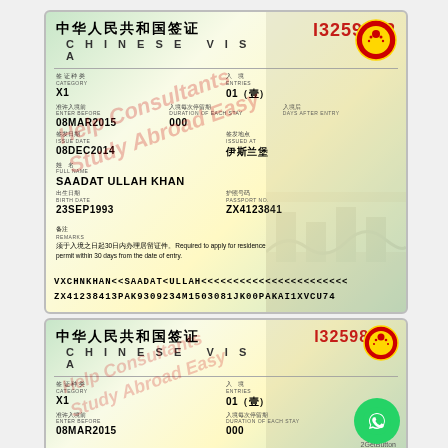[Figure (photo): Chinese Visa document (top) for SAADAT ULLAH KHAN. Visa number I3259902, Category X1, Entries 01(壹), Enter Before 08MAR2015, Duration 000, Issue Date 08DEC2014, Issued at 伊斯兰堡, Full Name SAADAT ULLAH KHAN, Birth Date 23SEP1993, Passport No ZX4123841. MRZ lines: VXCHNKHAN<<SAADAT<ULLAH<<<<<<<<<<<<<<<<<<<<< and ZX41238413PAK9309234M1503081JK00PAKAI1XVCU74. Red diagonal watermark overlay: 'Study Abroad Easy - Help Consultants']
[Figure (photo): Chinese Visa document (bottom, partially visible). Visa number I325986..., Category X1, Entries 01(壹), Enter Before 08MAR2015, Duration 000. WhatsApp GetButton overlay visible.]